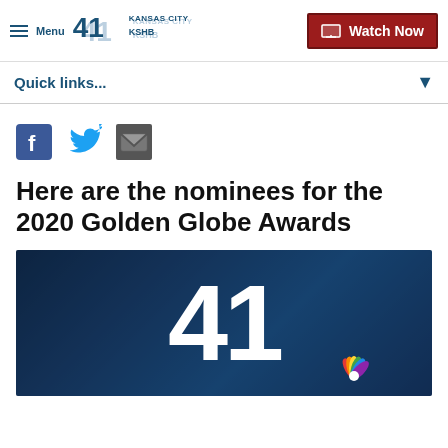Menu | 41 KSHB Kansas City | Watch Now
Quick links...
[Figure (other): Social sharing icons: Facebook, Twitter, Email]
Here are the nominees for the 2020 Golden Globe Awards
[Figure (other): KSHB 41 News station logo on dark blue background with NBC peacock logo]